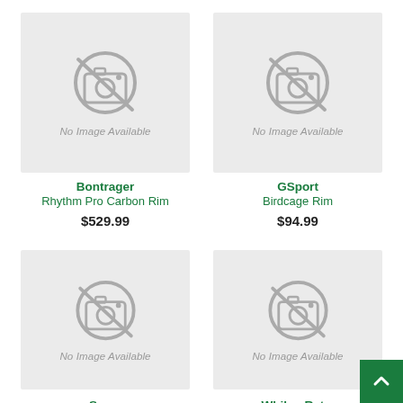[Figure (other): No image placeholder for Bontrager Rhythm Pro Carbon Rim]
Bontrager
Rhythm Pro Carbon Rim
$529.99
[Figure (other): No image placeholder for GSport Birdcage Rim]
GSport
Birdcage Rim
$94.99
[Figure (other): No image placeholder for partially visible product (bottom left)]
Sco...
[Figure (other): No image placeholder for partially visible product (bottom right)]
Whib... Ret...